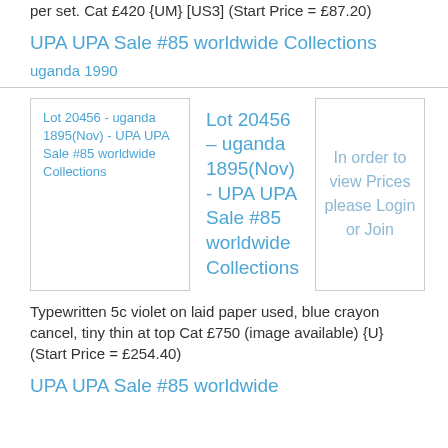per set. Cat £420 {UM} [US3] (Start Price = £87.20)
UPA UPA Sale #85 worldwide Collections
uganda 1990
[Figure (other): Lot image thumbnail for Lot 20456 - uganda 1895(Nov) - UPA UPA Sale #85 worldwide Collections]
Lot 20456 – uganda 1895(Nov) - UPA UPA Sale #85 worldwide Collections
In order to view Prices please Login or Join
Typewritten 5c violet on laid paper used, blue crayon cancel, tiny thin at top Cat £750 (image available) {U} (Start Price = £254.40)
UPA UPA Sale #85 worldwide